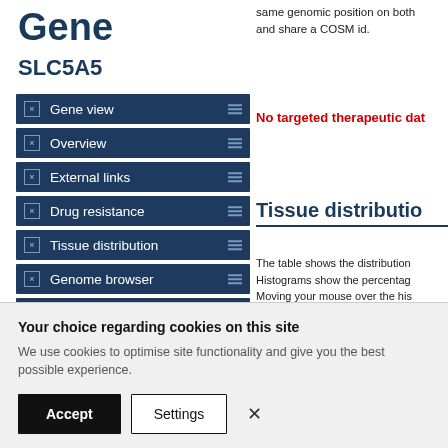Gene
SLC5A5
Gene view
Overview
External links
Drug resistance
Tissue distribution
Genome browser
Mutation distribution
same genomic position on both and share a COSM id.
No targeted therapeutic dat
Tissue distribution
The table shows the distribution Histograms show the percentage Moving your mouse over the his include samples from the target have been screened for mutatio
Your choice regarding cookies on this site
We use cookies to optimise site functionality and give you the best possible experience.